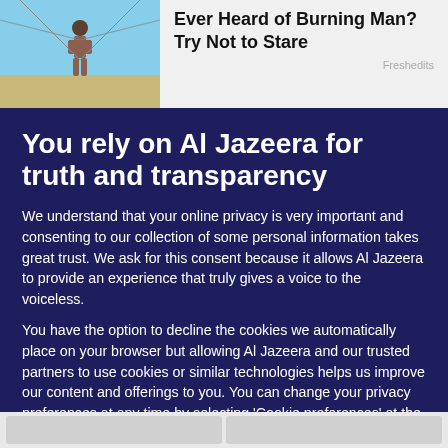[Figure (photo): Top banner advertisement showing a figure and text 'Ever Heard of Burning Man? Try Not to Stare' with source 'Freshedits']
You rely on Al Jazeera for truth and transparency
We understand that your online privacy is very important and consenting to our collection of some personal information takes great trust. We ask for this consent because it allows Al Jazeera to provide an experience that truly gives a voice to the voiceless.
You have the option to decline the cookies we automatically place on your browser but allowing Al Jazeera and our trusted partners to use cookies or similar technologies helps us improve our content and offerings to you. You can change your privacy preferences at any time by selecting 'Cookie preferences' at the bottom of your screen. To learn more, please view our Cookie Policy.